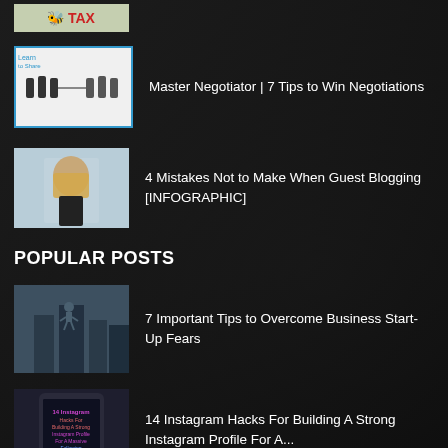[Figure (photo): Partial top thumbnail showing TAX text with red icon]
[Figure (photo): Thumbnail of people in a tug-of-war negotiation scene on white background]
Master Negotiator | 7 Tips to Win Negotiations
[Figure (photo): Person with a paper bag over their head, dark clothing on light blue background]
4 Mistakes Not to Make When Guest Blogging [INFOGRAPHIC]
POPULAR POSTS
[Figure (photo): Aerial view looking down at person standing on tall building between skyscrapers]
7 Important Tips to Overcome Business Start-Up Fears
[Figure (photo): Phone screen showing Instagram hacks infographic with colorful text]
14 Instagram Hacks For Building A Strong Instagram Profile For A...